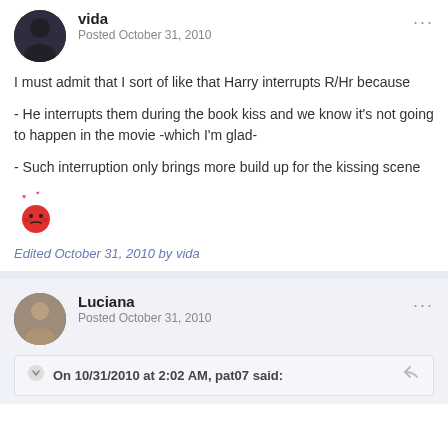vida
Posted October 31, 2010
I must admit that I sort of like that Harry interrupts R/Hr because
- He interrupts them during the book kiss and we know it's not going to happen in the movie -which I'm glad-
- Such interruption only brings more build up for the kissing scene
[Figure (illustration): A red blushing/love-struck emoji with small pink hearts above its head]
Edited October 31, 2010 by vida
Luciana
Posted October 31, 2010
On 10/31/2010 at 2:02 AM, pat07 said: